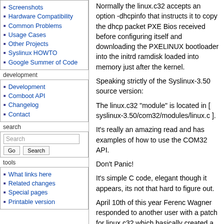Screenshots
Hardware Compatibility
Common Problems
Usage Cases
Other Projects
Syslinux HOWTO
Google Summer of Code
development
Development
Comboot API
Changelog
Contact
search
tools
What links here
Related changes
Special pages
Printable version
Normally the linux.c32 accepts an option -dhcpinfo that instructs it to copy the dhcp packet PXE Bios received before configuring itself and downloading the PXELINUX bootloader into the initrd ramdisk loaded into memory just after the kernel.
Speaking strictly of the Syslinux-3.50 source version:
The linux.c32 "module" is located in [ syslinux-3.50/com32/modules/linux.c ].
It's really an amazing read and has examples of how to use the COM32 API.
Don't Panic!
It's simple C code, elegant though it appears, its not that hard to figure out.
April 10th of this year Ferenc Wagner responded to another user with a patch for linux.c32 which basically created a structure for the dhcp_packet based on the dhcp.h from a DHCP server.
Then assigned tags to the parts of the